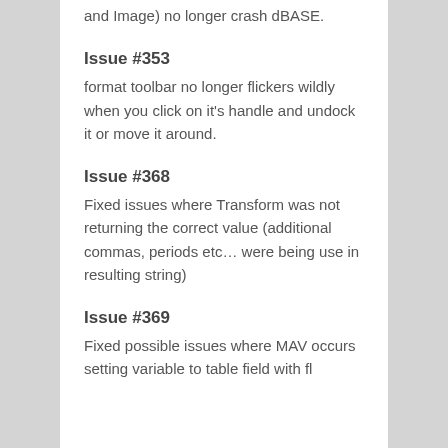and Image) no longer crash dBASE.
Issue #353
format toolbar no longer flickers wildly when you click on it's handle and undock it or move it around.
Issue #368
Fixed issues where Transform was not returning the correct value (additional commas, periods etc… were being use in resulting string)
Issue #369
Fixed possible issues where MAV occurs setting variable to table field with fl...